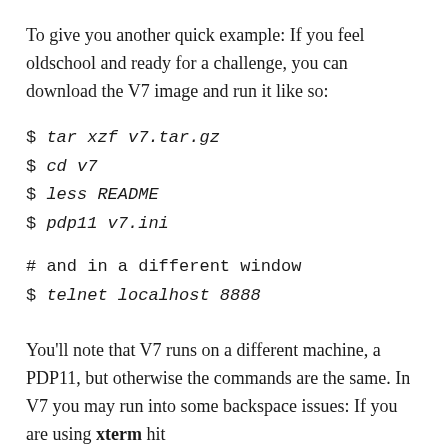To give you another quick example: If you feel oldschool and ready for a challenge, you can download the V7 image and run it like so:
$ tar xzf v7.tar.gz
$ cd v7
$ less README
$ pdp11 v7.ini
# and in a different window
$ telnet localhost 8888
You'll note that V7 runs on a different machine, a PDP11, but otherwise the commands are the same. In V7 you may run into some backspace issues: If you are using xterm hit